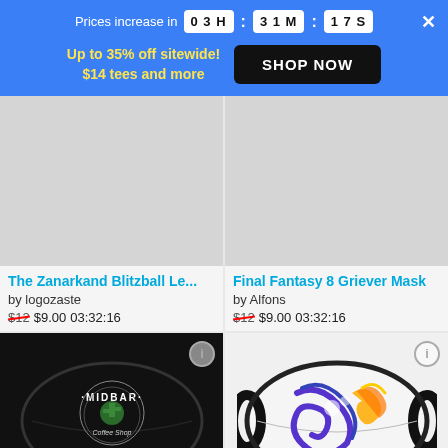Prices increase in 03 H : 31 M : 17 S
Up to 35% off sitewide! $14 tees and more  SHOP NOW
[Figure (photo): Top portion of face mask product (Zanarkand Blitzball) - partially cropped]
[Figure (photo): Top portion of face mask product (Final Fantasy 8 Griever) - partially cropped]
The Zanarkand Blitzball Le...
by logozaste
$12 $9.00 03:32:16
Final Fantasy 8 Griever Mask
by Alfons
$12 $9.00 03:32:16
[Figure (photo): Black face mask with MIDBAR Cactuar Coffee Shop logo design]
[Figure (photo): White face mask with FFX galaxy colorful artwork]
Cactuar Coffee Shop Mask
by logozaste
ffx galaxy Mask
by DRKNT